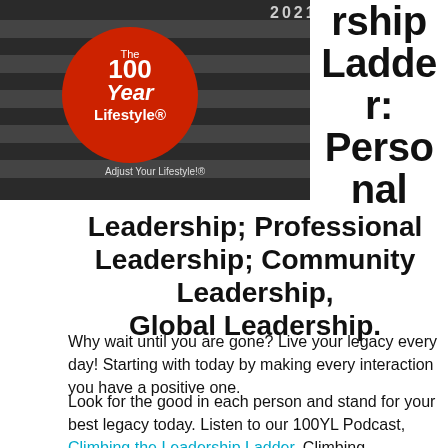[Figure (photo): Cover of The 100 Year Lifestyle magazine, 2021 issue, with red circular logo and text 'Adjust Your Lifestyle!']
rship Ladder: Personal Leadership; Professional Leadership; Community Leadership, Global Leadership.
Why wait until you are gone? Live your legacy every day! Starting with today by making every interaction you have a positive one.
Look for the good in each person and stand for your best legacy today. Listen to our 100YL Podcast, Climbing the Leadership Ladder. Climbing